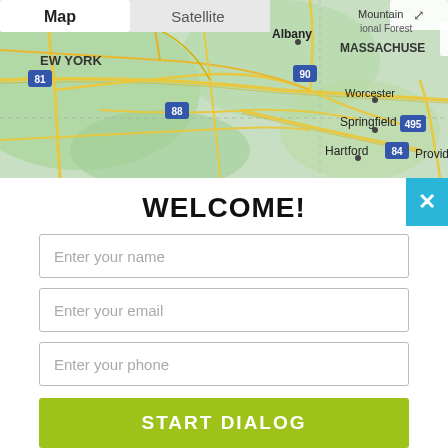[Figure (map): Google Maps view showing northeastern United States including New York, Massachusetts, Albany, Springfield, Hartford, Worcester, Providence. Road network with yellow highways (I-81, I-88, I-90, I-84, I-495). Map and Satellite toggle buttons visible at top. 'Computer Answers' watermark logo visible. Green terrain background.]
WELCOME!
Enter your name
Enter your email
Enter your phone
START DIALOG